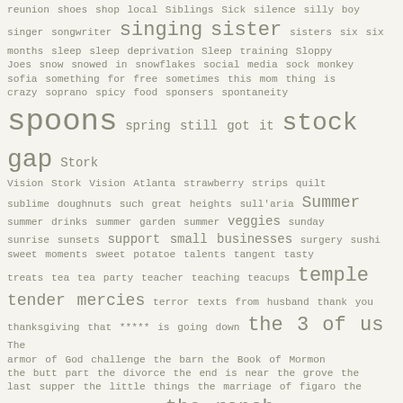[Figure (other): A tag cloud of blog/website topics, displayed in varying font sizes reflecting frequency/importance, using a monospace font on a light beige background. Words include topics like spoons, singing, sister, stock gap, Summer, traditions, Tunes, the ranch, thrifty, temple, tender mercies, and many others.]